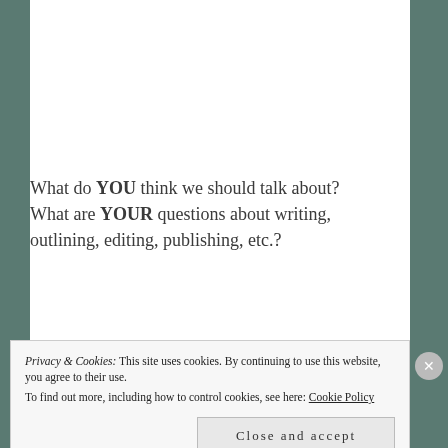What do YOU think we should talk about? What are YOUR questions about writing, outlining, editing, publishing, etc.?
©KaylaAnnAuthor
© KaylaAnn and KaylaAnnAuthor.wordpress.com, 2018.
Privacy & Cookies: This site uses cookies. By continuing to use this website, you agree to their use. To find out more, including how to control cookies, see here: Cookie Policy
Close and accept